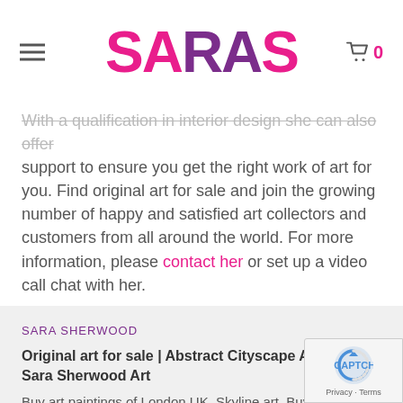SARAS
With a qualification in interior design she can also offer support to ensure you get the right work of art for you. Find original art for sale and join the growing number of happy and satisfied art collectors and customers from all around the world. For more information, please contact her or set up a video call chat with her.
SARA SHERWOOD
Original art for sale | Abstract Cityscape Artist | Sara Sherwood Art
Buy art paintings of London UK. Skyline art. Buy original art online in beautifully expressive colours, packaged and shipped worldwide.